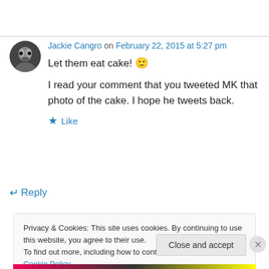Jackie Cangro on February 22, 2015 at 5:27 pm
Let them eat cake! 🙂
I read your comment that you tweeted MK that photo of the cake. I hope he tweets back.
★ Like
↵ Reply
Privacy & Cookies: This site uses cookies. By continuing to use this website, you agree to their use.
To find out more, including how to control cookies, see here: Cookie Policy